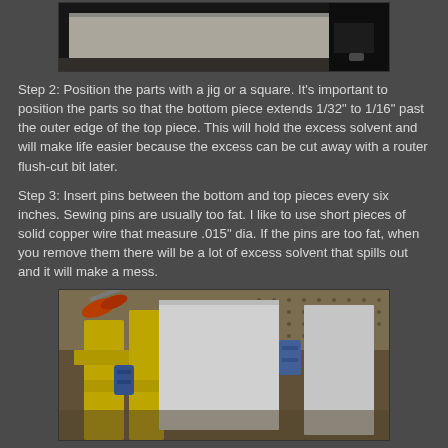[Figure (photo): Workshop photo showing a flat panel/sheet on a workbench surface with tools nearby]
Step 2: Position the parts with a jig or a square. It's important to position the parts so that the bottom piece extends 1/32" to 1/16" past the outer edge of the top piece. This will hold the excess solvent and will make life easier because the excess can be cut away with a router flush-cut bit later.
Step 3: Insert pins between the bottom and top pieces every six inches. Sewing pins are usually too fat. I like to use short pieces of solid copper wire that measure .015" dia. If the pins are too fat, when you remove them there will be a lot of excess solvent that spills out and it will make a mess.
[Figure (photo): Workshop photo showing yellow wooden jig/fixture with clamps holding white panels, scissors visible in background on pegboard wall]